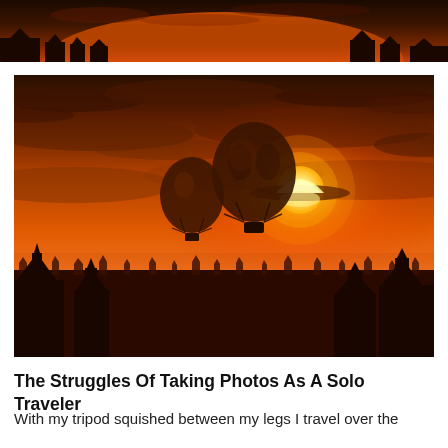[Figure (photo): Partial view of ancient temple silhouettes and pagodas at sunset with orange sky, cropped top portion]
[Figure (photo): Two hot air balloons silhouetted against a brilliant orange sunset sky over the ancient temples and pagodas of Bagan, Myanmar. The sun is partially obscured by clouds near the horizon.]
The Struggles Of Taking Photos As A Solo Traveler
With my tripod squished between my legs I travel over the